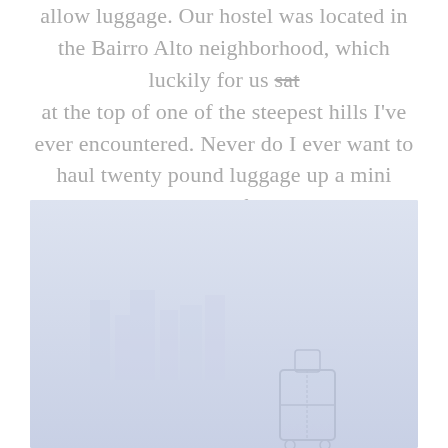allow luggage. Our hostel was located in the Bairro Alto neighborhood, which luckily for us sat at the top of one of the steepest hills I've ever encountered. Never do I ever want to haul twenty pound luggage up a mini mountain ever again. If traveling through Lisbon with heavy luggage, I'd recommend some CrossFit training first.
[Figure (photo): A photograph with a light blue-grey washed out background showing a faint image of luggage or a travel scene in Lisbon]